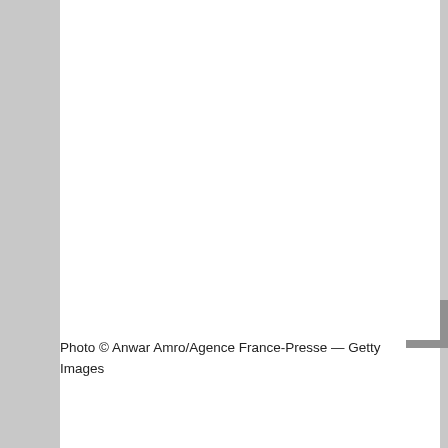[Figure (photo): Large white/blank photo area occupying the upper portion of the page]
Photo © Anwar Amro/Agence France-Presse — Getty Images